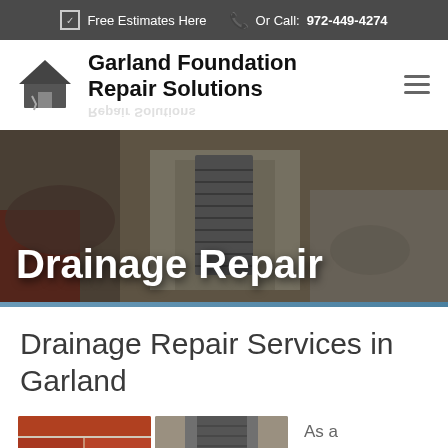Free Estimates Here  Or Call: 972-449-4274
Garland Foundation Repair Solutions
[Figure (photo): Hero banner photo showing a drainage channel/grate surrounded by gravel, rocks, and construction material with the overlay text 'Drainage Repair']
Drainage Repair Services in Garland
[Figure (photo): Two side-by-side photos at the bottom: left shows brick/concrete repair work, right shows a drainage trench installation]
As a